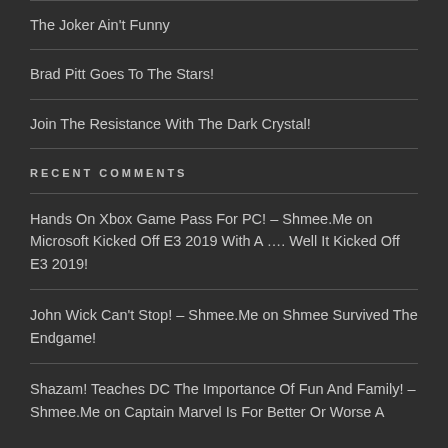Welcome To The FanDome!
The Joker Ain't Funny
Brad Pitt Goes To The Stars!
Join The Resistance With The Dark Crystal!
RECENT COMMENTS
Hands On Xbox Game Pass For PC! – Shmee.Me on Microsoft Kicked Off E3 2019 With A …. Well It Kicked Off E3 2019!
John Wick Can't Stop! – Shmee.Me on Shmee Survived The Endgame!
Shazam! Teaches DC The Importance Of Fun And Family! – Shmee.Me on Captain Marvel Is For Better Or Worse A